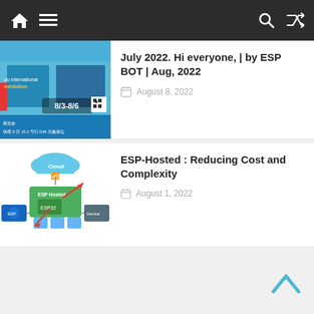Navigation bar with home, menu, search, and shuffle icons
July 2022. Hi everyone, | by ESP BOT | Aug, 2022
August 8, 2022
[Figure (screenshot): Exhibition hall photo with ESSIF branding, dates 8/3-8/6, Chinese text, and booth location info]
ESP-Hosted : Reducing Cost and Complexity
August 1, 2022
[Figure (infographic): ESP-Hosted network diagram showing cloud, ESP hosted chip, and connected devices with red arrows]